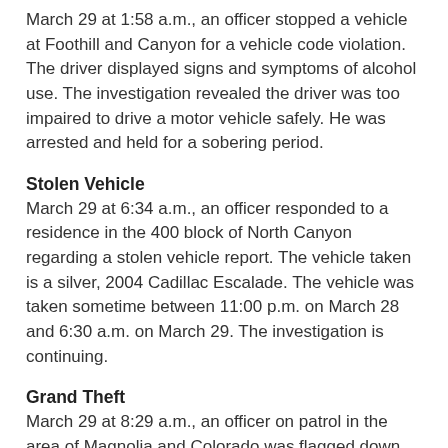March 29 at 1:58 a.m., an officer stopped a vehicle at Foothill and Canyon for a vehicle code violation. The driver displayed signs and symptoms of alcohol use. The investigation revealed the driver was too impaired to drive a motor vehicle safely. He was arrested and held for a sobering period.
Stolen Vehicle
March 29 at 6:34 a.m., an officer responded to a residence in the 400 block of North Canyon regarding a stolen vehicle report. The vehicle taken is a silver, 2004 Cadillac Escalade. The vehicle was taken sometime between 11:00 p.m. on March 28 and 6:30 a.m. on March 29. The investigation is continuing.
Grand Theft
March 29 at 8:29 a.m., an officer on patrol in the area of Magnolia and Colorado was flagged down by a resident. The resident told the officer that someone had stolen the catalytic converter from her vehicle during the night. The vehicle is a 2009 Honda Element. The vehicle was parked on the southwest corner of Colorado and Magnolia at the time of